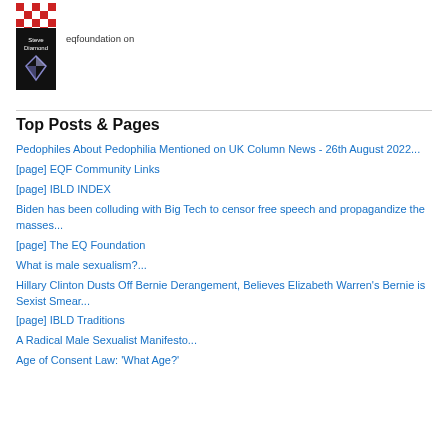[Figure (logo): Red and white pixelated/checker logo at top left]
[Figure (photo): Avatar image showing Steve Diamond text with diamond graphic on black background]
eqfoundation on The Anti-Smartphone Revolution...
Top Posts & Pages
Pedophiles About Pedophilia Mentioned on UK Column News - 26th August 2022...
[page] EQF Community Links
[page] IBLD INDEX
Biden has been colluding with Big Tech to censor free speech and propagandize the masses...
[page] The EQ Foundation
What is male sexualism?...
Hillary Clinton Dusts Off Bernie Derangement, Believes Elizabeth Warren's Bernie is Sexist Smear...
[page] IBLD Traditions
A Radical Male Sexualist Manifesto...
Age of Consent Law: 'What Age?'